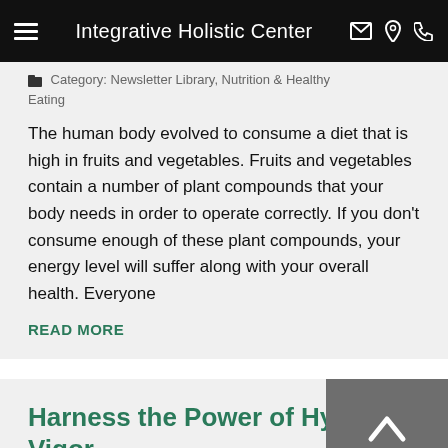Integrative Holistic Center
Category: Newsletter Library, Nutrition & Healthy Eating
The human body evolved to consume a diet that is high in fruits and vegetables. Fruits and vegetables contain a number of plant compounds that your body needs in order to operate correctly. If you don't consume enough of these plant compounds, your energy level will suffer along with your overall health. Everyone
READ MORE
Harness the Power of Hybrid Vigor
Category: Newsletter Library, Nutrition & Healthy Eating
Certain things in life just go together naturally. In the